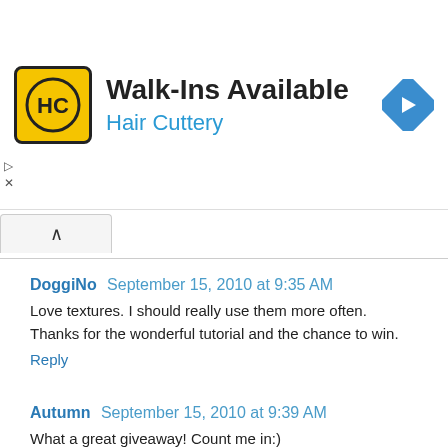[Figure (advertisement): Hair Cuttery ad banner with yellow HC logo, 'Walk-Ins Available' heading, 'Hair Cuttery' subheading in blue, and a blue direction arrow icon on the right.]
DoggiNo  September 15, 2010 at 9:35 AM
Love textures. I should really use them more often. Thanks for the wonderful tutorial and the chance to win.
Reply
Autumn  September 15, 2010 at 9:39 AM
What a great giveaway! Count me in:)
awaldo10@yahoo.com
Reply
Monica Bingham  September 15, 2010 at 9:43 AM